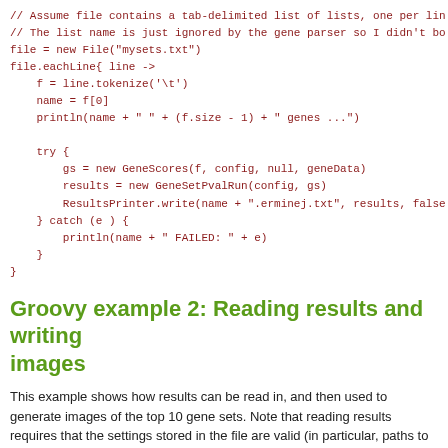// Assume file contains a tab-delimited list of lists, one per lin
// The list name is just ignored by the gene parser so I didn't bo
file = new File("mysets.txt")
file.eachLine{ line ->
    f = line.tokenize('\t')
    name = f[0]
    println(name + " " + (f.size - 1) + " genes ...")

    try {
        gs = new GeneScores(f, config, null, geneData)
        results = new GeneSetPvalRun(config, gs)
        ResultsPrinter.write(name + ".erminej.txt", results, false
    } catch (e ) {
        println(name + " FAILED: " + e)
    }
}
Groovy example 2: Reading results and writing images
This example shows how results can be read in, and then used to generate images of the top 10 gene sets. Note that reading results requires that the settings stored in the file are valid (in particular, paths to files).
#!/usr/bin/groovy